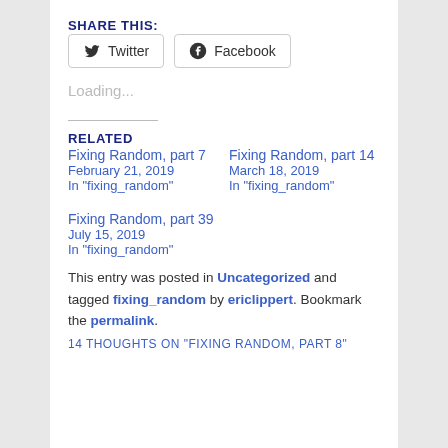SHARE THIS:
Twitter  Facebook
Loading...
RELATED
Fixing Random, part 7
February 21, 2019
In "fixing_random"
Fixing Random, part 14
March 18, 2019
In "fixing_random"
Fixing Random, part 39
July 15, 2019
In "fixing_random"
This entry was posted in Uncategorized and tagged fixing_random by ericlippert. Bookmark the permalink.
14 THOUGHTS ON "FIXING RANDOM, PART 8"